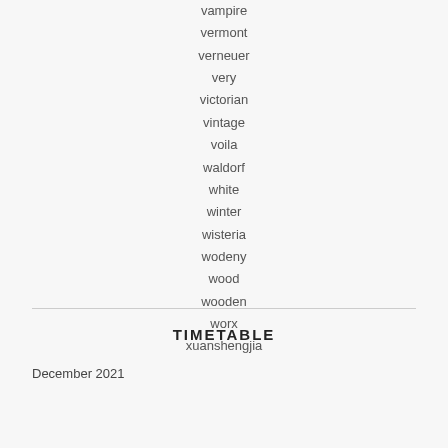vampire
vermont
verneuer
very
victorian
vintage
voila
waldorf
white
winter
wisteria
wodeny
wood
wooden
worx
xuanshengjia
TIMETABLE
December 2021